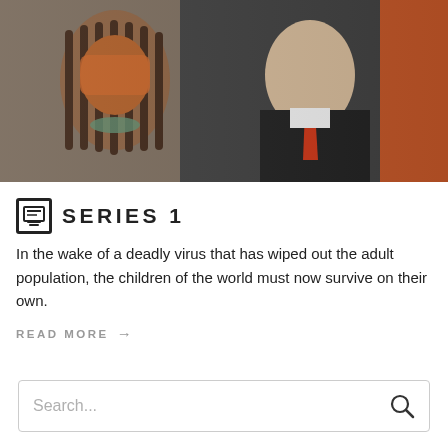[Figure (photo): Two people in the foreground: one with braided hair and face paint in orange/red tones, another in a dark jacket with a red tie. Background shows an orange element.]
SERIES 1
In the wake of a deadly virus that has wiped out the adult population, the children of the world must now survive on their own.
READ MORE →
< OLDER ENTRIES
Search...